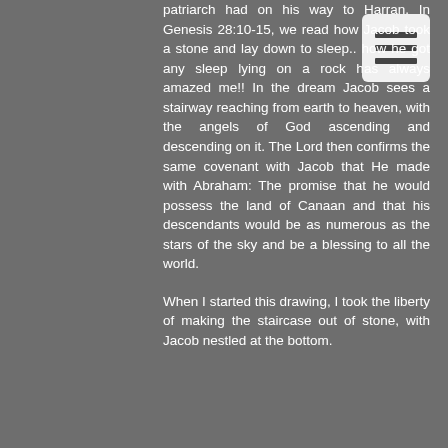patriarch had on his way to Harran. In Genesis 28:10-15, we read how Jacob took a stone and lay down to sleep.. how he got any sleep lying on a rock has always amazed me!! In the dream Jacob sees a stairway reaching from earth to heaven, with the angels of God ascending and descending on it. The Lord then confirms the same covenant with Jacob that He made with Abraham: The promise that he would possess the land of Canaan and that his descendants would be as numerous as the stars of the sky and be a blessing to all the world.

When I started this drawing, I took the liberty of making the staircase out of stone, with Jacob nestled at the bottom.